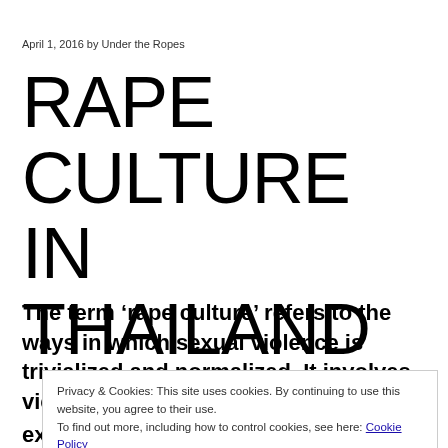April 1, 2016 by Under the Ropes
RAPE CULTURE IN THAILAND
The term ‘rape culture’ refers to the ways in which sexual violence is trivialized and normalized. It involves victims being blamed, perpetrators being excused, and the normalization of sexual violence in media and popular culture. This is not exclusive to Thailand; it happens
Privacy & Cookies: This site uses cookies. By continuing to use this website, you agree to their use. To find out more, including how to control cookies, see here: Cookie Policy
exclusive to Thailand; it happens